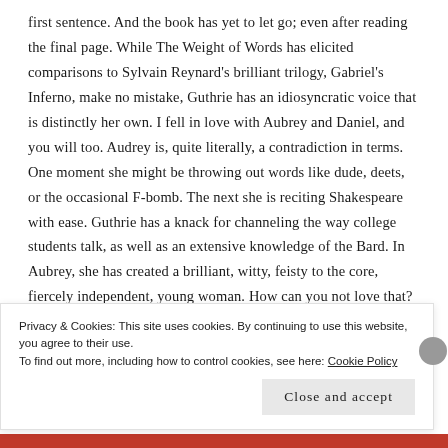first sentence. And the book has yet to let go; even after reading the final page. While The Weight of Words has elicited comparisons to Sylvain Reynard's brilliant trilogy, Gabriel's Inferno, make no mistake, Guthrie has an idiosyncratic voice that is distinctly her own. I fell in love with Aubrey and Daniel, and you will too. Audrey is, quite literally, a contradiction in terms. One moment she might be throwing out words like dude, deets, or the occasional F-bomb. The next she is reciting Shakespeare with ease. Guthrie has a knack for channeling the way college students talk, as well as an extensive knowledge of the Bard. In Aubrey, she has created a brilliant, witty, feisty to the core, fiercely independent, young woman. How can you not love that? As for Daniel, more
Privacy & Cookies: This site uses cookies. By continuing to use this website, you agree to their use.
To find out more, including how to control cookies, see here: Cookie Policy
Close and accept